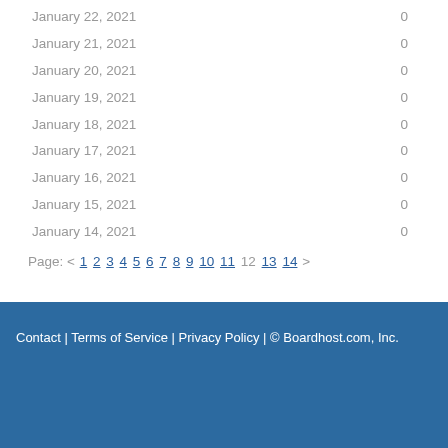| Date | Count |
| --- | --- |
| January 22, 2021 | 0 |
| January 21, 2021 | 0 |
| January 20, 2021 | 0 |
| January 19, 2021 | 0 |
| January 18, 2021 | 0 |
| January 17, 2021 | 0 |
| January 16, 2021 | 0 |
| January 15, 2021 | 0 |
| January 14, 2021 | 0 |
Page: < 1 2 3 4 5 6 7 8 9 10 11 12 13 14 >
Contact | Terms of Service | Privacy Policy | © Boardhost.com, Inc.